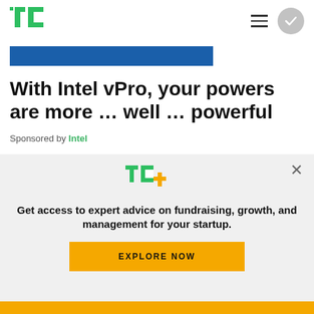TechCrunch (TC logo) — navigation header with hamburger menu and check circle
[Figure (other): Blue horizontal banner image strip]
With Intel vPro, your powers are more … well … powerful
Sponsored by Intel
[Figure (logo): TC+ logo with green TC and yellow + sign]
Get access to expert advice on fundraising, growth, and management for your startup.
EXPLORE NOW